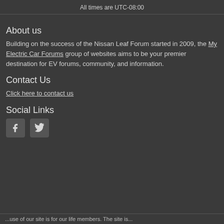All times are UTC-08:00
About us
Building on the success of the Nissan Leaf Forum started in 2009, the My Electric Car Forums group of websites aims to be your premier destination for EV forums, community, and information.
Contact Us
Click here to contact us
Social Links
[Figure (other): Social media icons: Facebook and Twitter]
...use of our site is for our life members. The site is...